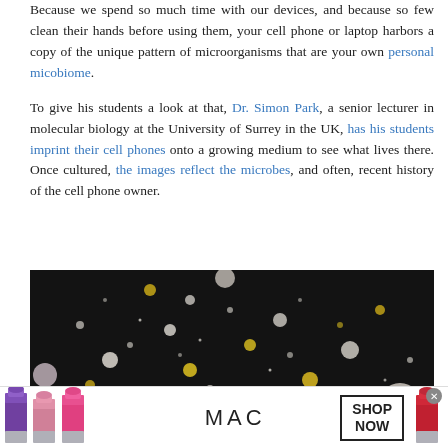Because we spend so much time with our devices, and because so few clean their hands before using them, your cell phone or laptop harbors a copy of the unique pattern of microorganisms that are your own personal micobiome.
To give his students a look at that, Dr. Simon Park, a senior lecturer in molecular biology at the University of Surrey in the UK, has his students imprint their cell phones onto a growing medium to see what lives there. Once cultured, the images reflect the microbes, and often, recent history of the cell phone owner.
[Figure (photo): Close-up photograph of microbial colonies growing on a dark agar plate, showing white and yellow/gold colored spherical bacterial colonies of various sizes scattered across a black background.]
[Figure (photo): Advertisement banner showing MAC Cosmetics lipsticks in purple, pink, and red shades alongside the MAC logo and a 'SHOP NOW' button.]